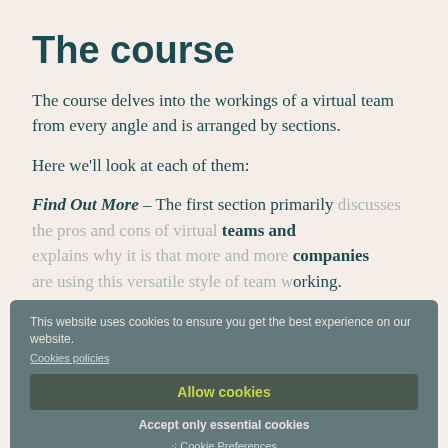The course
The course delves into the workings of a virtual team from every angle and is arranged by sections.
Here we'll look at each of them:
Find Out More – The first section primarily discusses the pros and cons of virtual teams and explains why it is that more and more companies are using this versatile style of team working.
The major benefit of the virtual team is the great savings that can be had if there isn't an office building to pay for. The physical workplace is a huge overhead that most companies are glad to